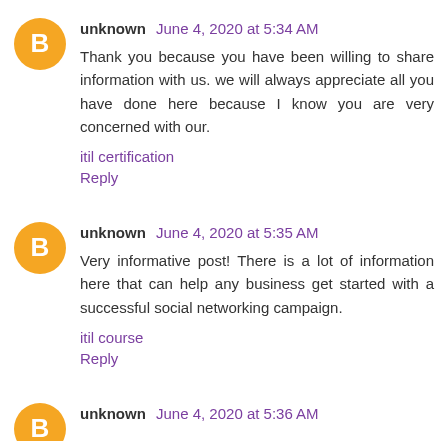unknown June 4, 2020 at 5:34 AM
Thank you because you have been willing to share information with us. we will always appreciate all you have done here because I know you are very concerned with our.
itil certification
Reply
unknown June 4, 2020 at 5:35 AM
Very informative post! There is a lot of information here that can help any business get started with a successful social networking campaign.
itil course
Reply
unknown June 4, 2020 at 5:36 AM